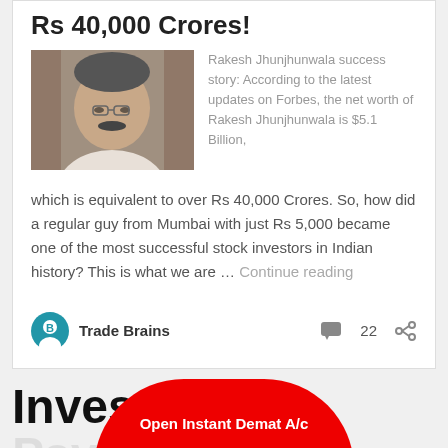Rs 40,000 Crores!
[Figure (photo): Portrait photo of Rakesh Jhunjhunwala, an Indian investor, seated]
Rakesh Jhunjhunwala success story: According to the latest updates on Forbes, the net worth of Rakesh Jhunjhunwala is $5.1 Billion, which is equivalent to over Rs 40,000 Crores. So, how did a regular guy from Mumbai with just Rs 5,000 became one of the most successful stock investors in Indian history? This is what we are … Continue reading
Trade Brains  22
Invesr...logy
Open Instant Demat A/c